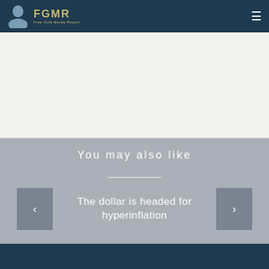FGMR — Free Gold Money Report
[Figure (other): Advertisement / blank white area below header]
You may also like
The dollar is headed for hyperinflation
READ NOW